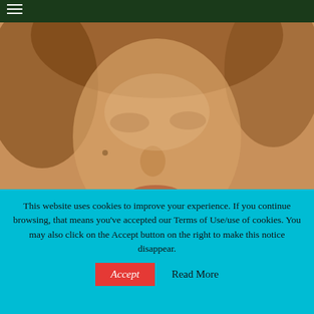[Figure (photo): Sepia-toned vintage portrait photograph of a woman (likely Ann Miller or Marilyn Monroe), close-up facial shot with curly hair]
Classic Musicals Showcase: Ann Miller & Marilyn Monroe + Judy Canova
New York City's Film Forum is presenting an
This website uses cookies to improve your experience. If you continue browsing, that means you've accepted our Terms of Use/use of cookies. You may also click on the Accept button on the right to make this notice disappear.